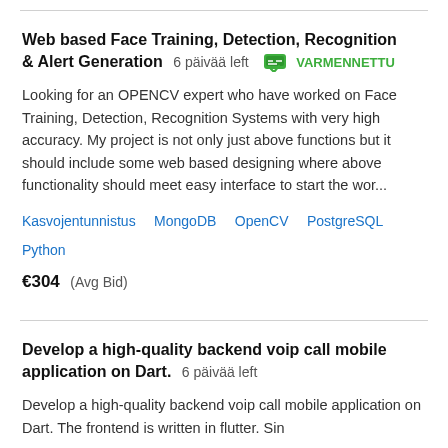Web based Face Training, Detection, Recognition & Alert Generation  6 päivää left  VARMENNETTU
Looking for an OPENCV expert who have worked on Face Training, Detection, Recognition Systems with very high accuracy. My project is not only just above functions but it should include some web based designing where above functionality should meet easy interface to start the wor...
Kasvojentunnistus  MongoDB  OpenCV  PostgreSQL  Python
€304  (Avg Bid)
Develop a high-quality backend voip call mobile application on Dart.  6 päivää left
Develop a high-quality backend voip call mobile application on Dart. The frontend is written in flutter. Sin